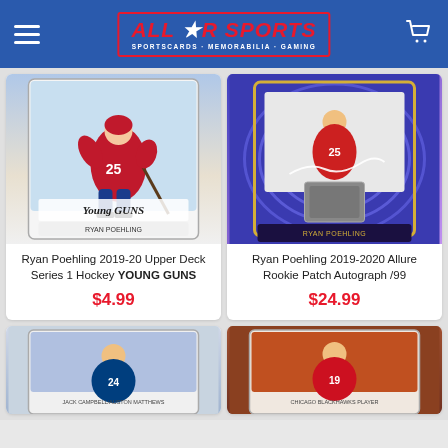All Star Sports — Sportscards · Memorabilia · Gaming
[Figure (photo): Ryan Poehling 2019-20 Upper Deck Series 1 Hockey Young Guns trading card in sleeve, player in Montreal Canadiens red jersey skating]
Ryan Poehling 2019-20 Upper Deck Series 1 Hockey YOUNG GUNS
$4.99
[Figure (photo): Ryan Poehling 2019-2020 Allure Rookie Patch Autograph /99 trading card with blue swirl background and autograph patch]
Ryan Poehling 2019-2020 Allure Rookie Patch Autograph /99
$24.99
[Figure (photo): Hockey trading card of player in Toronto Maple Leafs blue jersey, partially visible]
[Figure (photo): Hockey trading card with red/brown background, player in Chicago Blackhawks jersey, partially visible]